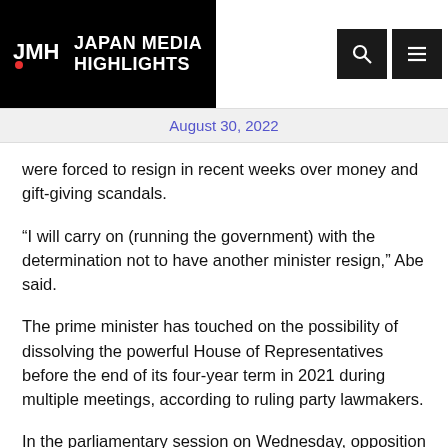Japan Media Highlights
August 30, 2022
were forced to resign in recent weeks over money and gift-giving scandals.
“I will carry on (running the government) with the determination not to have another minister resign,” Abe said.
The prime minister has touched on the possibility of dissolving the powerful House of Representatives before the end of its four-year term in 2021 during multiple meetings, according to ruling party lawmakers.
In the parliamentary session on Wednesday, opposition parties took aim at education minister Koichi Hagiuda over remarks interpreted as tolerating inequality in education.